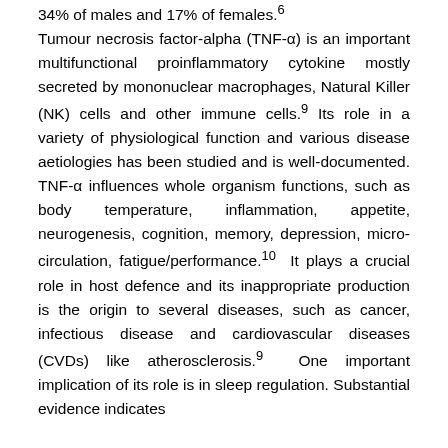34% of males and 17% of females.6 Tumour necrosis factor-alpha (TNF-α) is an important multifunctional proinflammatory cytokine mostly secreted by mononuclear macrophages, Natural Killer (NK) cells and other immune cells.9 Its role in a variety of physiological function and various disease aetiologies has been studied and is well-documented. TNF-α influences whole organism functions, such as body temperature, inflammation, appetite, neurogenesis, cognition, memory, depression, micro-circulation, fatigue/performance.10  It plays a crucial role in host defence and its inappropriate production is the origin to several diseases, such as cancer, infectious disease and cardiovascular diseases (CVDs) like atherosclerosis.9  One important implication of its role is in sleep regulation. Substantial evidence indicates